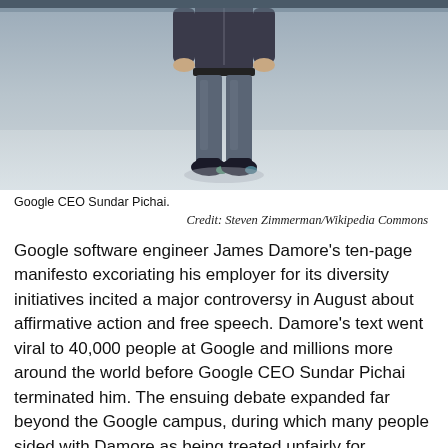[Figure (photo): Google CEO Sundar Pichai standing on a stage, wearing dark jeans and sneakers, photographed from mid-torso down, against a grey background.]
Google CEO Sundar Pichai.
                    Credit:  Steven Zimmerman/Wikipedia Commons
Google software engineer James Damore's ten-page manifesto excoriating his employer for its diversity initiatives incited a major controversy in August about affirmative action and free speech. Damore's text went viral to 40,000 people at Google and millions more around the world before Google CEO Sundar Pichai terminated him. The ensuing debate expanded far beyond the Google campus, during which many people sided with Damore as being treated unfairly for expressing his opinions.